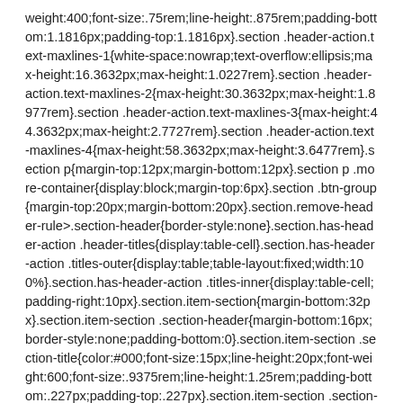weight:400;font-size:.75rem;line-height:.875rem;padding-bottom:1.1816px;padding-top:1.1816px}.section .header-action.text-maxlines-1{white-space:nowrap;text-overflow:ellipsis;max-height:16.3632px;max-height:1.0227rem}.section .header-action.text-maxlines-2{max-height:30.3632px;max-height:1.8977rem}.section .header-action.text-maxlines-3{max-height:44.3632px;max-height:2.7727rem}.section .header-action.text-maxlines-4{max-height:58.3632px;max-height:3.6477rem}.section p{margin-top:12px;margin-bottom:12px}.section p .more-container{display:block;margin-top:6px}.section .btn-group{margin-top:20px;margin-bottom:20px}.section.remove-header-rule>.section-header{border-style:none}.section.has-header-action .header-titles{display:table-cell}.section.has-header-action .titles-outer{display:table;table-layout:fixed;width:100%}.section.has-header-action .titles-inner{display:table-cell;padding-right:10px}.section.item-section{margin-bottom:32px}.section.item-section .section-header{margin-bottom:16px;border-style:none;padding-bottom:0}.section.item-section .section-title{color:#000;font-size:15px;line-height:20px;font-weight:600;font-size:.9375rem;line-height:1.25rem;padding-bottom:.227px;padding-top:.227px}.section.item-section .section-